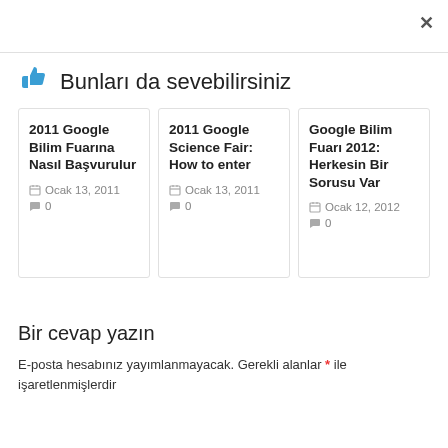👍 Bunları da sevebilirsiniz
2011 Google Bilim Fuarına Nasıl Başvurulur
Ocak 13, 2011
0
2011 Google Science Fair: How to enter
Ocak 13, 2011
0
Google Bilim Fuarı 2012: Herkesin Bir Sorusu Var
Ocak 12, 2012
0
Bir cevap yazın
E-posta hesabınız yayımlanmayacak. Gerekli alanlar * ile işaretlenmişlerdir